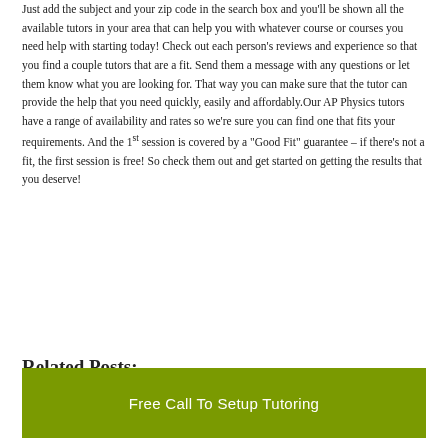Finding local physics tutors has all of that and they starting right now. Just add the subject and your zip code in the search box and you'll be shown all the available tutors in your area that can help you with whatever course or courses you need help with starting today!  Check out each person's reviews and experience so that you find a couple tutors that are a fit.  Send them a message with any questions or let them know what you are looking for.  That way you can make sure that the tutor can provide the help that you need quickly, easily and affordably.Our AP Physics tutors have a range of availability and rates so we're sure you can find one that fits your requirements. And the 1st session is covered by a "Good Fit" guarantee – if there's not a fit, the first session is free!  So check them out and get started on getting the results that you deserve!
Related Posts:
Free Call To Setup Tutoring